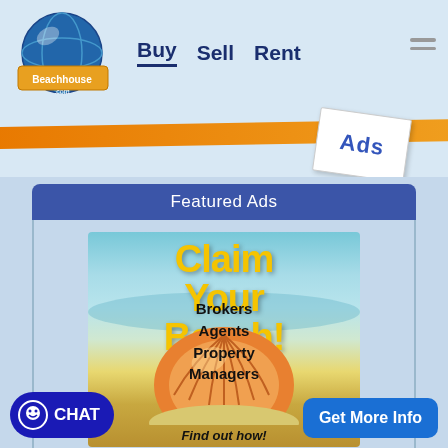Beachhouse.com — Buy | Sell | Rent
[Figure (screenshot): Orange banner strip with 'Ads' text folded corner graphic]
Featured Ads
[Figure (illustration): Beach house ad: 'Claim Your Beach!' in yellow text over beach/ocean background with seashell, listing Brokers, Agents, Property Managers. Find out how! at bottom.]
CHAT
Get More Info